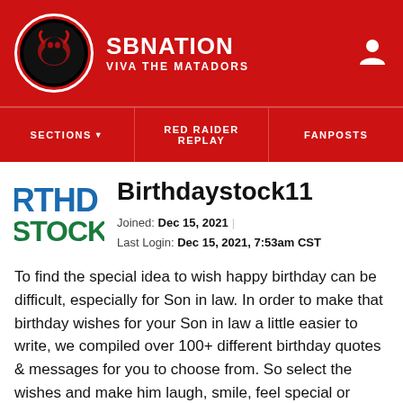SBNATION — VIVA THE MATADORS
SECTIONS   RED RAIDER REPLAY   FANPOSTS
Birthdaystock11
Joined: Dec 15, 2021  |  Last Login: Dec 15, 2021, 7:53am CST
To find the special idea to wish happy birthday can be difficult, especially for Son in law. In order to make that birthday wishes for your Son in law a little easier to write, we compiled over 100+ different birthday quotes & messages for you to choose from. So select the wishes and make him laugh, smile, feel special or motivated for the year ahead. Once you find the best Happy birthday